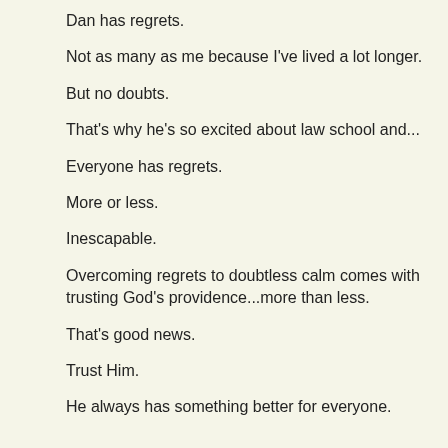Dan has regrets.
Not as many as me because I've lived a lot longer.
But no doubts.
That's why he's so excited about law school and...
Everyone has regrets.
More or less.
Inescapable.
Overcoming regrets to doubtless calm comes with trusting God's providence...more than less.
That's good news.
Trust Him.
He always has something better for everyone.